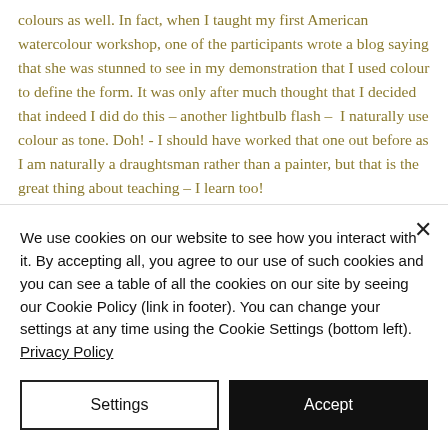colours as well. In fact, when I taught my first American watercolour workshop, one of the participants wrote a blog saying that she was stunned to see in my demonstration that I used colour to define the form. It was only after much thought that I decided that indeed I did do this – another lightbulb flash –  I naturally use colour as tone. Doh! - I should have worked that one out before as I am naturally a draughtsman rather than a painter, but that is the great thing about teaching – I learn too!
V can also be for Value Sketch – a simple sketch
We use cookies on our website to see how you interact with it. By accepting all, you agree to our use of such cookies and you can see a table of all the cookies on our site by seeing our Cookie Policy (link in footer). You can change your settings at any time using the Cookie Settings (bottom left). Privacy Policy